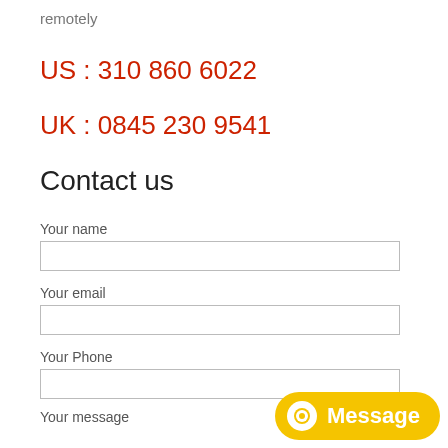remotely
US : 310 860 6022
UK : 0845 230 9541
Contact us
Your name
Your email
Your Phone
Your message